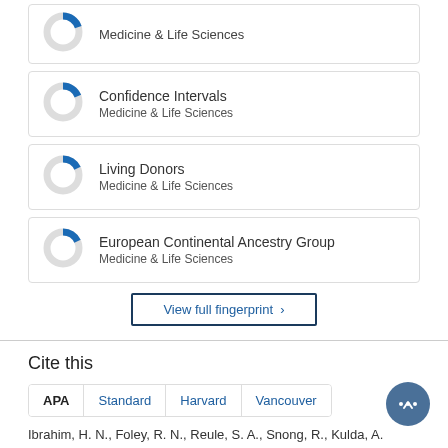[Figure (donut-chart): Partial donut chart card visible at top]
[Figure (donut-chart): Small donut chart with blue slice (~20%), grey remainder]
Confidence Intervals
Medicine & Life Sciences
[Figure (donut-chart): Small donut chart with blue slice (~20%), grey remainder]
Living Donors
Medicine & Life Sciences
[Figure (donut-chart): Small donut chart with blue slice (~20%), grey remainder]
European Continental Ancestry Group
Medicine & Life Sciences
View full fingerprint >
Cite this
APA   Standard   Harvard   Vancouver   ...
Ibrahim, H. N., Foley, R. N., Reule, S. A., Snong, R., Kulda, A.